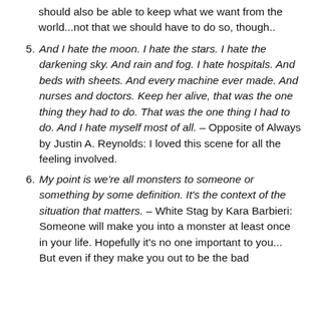should also be able to keep what we want from the world...not that we should have to do so, though..
And I hate the moon. I hate the stars. I hate the darkening sky. And rain and fog. I hate hospitals. And beds with sheets. And every machine ever made. And nurses and doctors. Keep her alive, that was the one thing they had to do. That was the one thing I had to do. And I hate myself most of all. – Opposite of Always by Justin A. Reynolds: I loved this scene for all the feeling involved.
My point is we're all monsters to someone or something by some definition. It's the context of the situation that matters. – White Stag by Kara Barbieri: Someone will make you into a monster at least once in your life. Hopefully it's no one important to you... But even if they make you out to be the bad